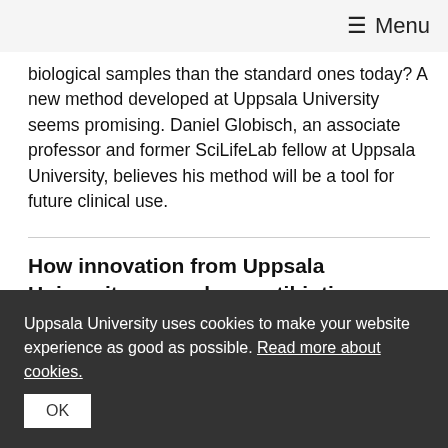≡ Menu
biological samples than the standard ones today? A new method developed at Uppsala University seems promising. Daniel Globisch, an associate professor and former SciLifeLab fellow at Uppsala University, believes his method will be a tool for future clinical use.
How innovation from Uppsala University can reduce antibiotic-resistant bacteria
[Figure (photo): A man with a beard in a laboratory setting with bottles and equipment in the background]
Uppsala University uses cookies to make your website experience as good as possible. Read more about cookies.